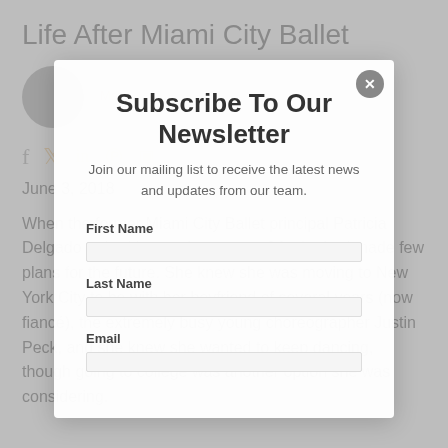Life After Miami City Ballet
[Figure (photo): Circular avatar photo of author]
June 3, 2018
When the former Miami City Ballet principal Patricia Delgado retired last spring, at age 34, she had made few plans for the future. She knew she was moving to New York City to be with her boyfriend of several years (now fiancé), the extremely busy young choreographer Justin Peck, and she knew she wanted to keep dancing, though going to college was another option she was considering.
[Figure (screenshot): Newsletter subscription modal dialog with title 'Subscribe To Our Newsletter', description text, First Name, Last Name, and Email fields, and a close button]
Subscribe To Our Newsletter
Join our mailing list to receive the latest news and updates from our team.
First Name
Last Name
Email